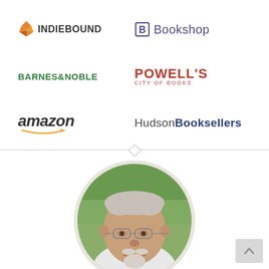[Figure (logo): IndieBound logo with orange wing/flame icon and bold uppercase text 'INDIEBOUND']
[Figure (logo): Bookshop logo with stylized 'B' and text 'Bookshop' in indigo]
[Figure (logo): Barnes & Noble logo in green uppercase text 'BARNES & NOBLE']
[Figure (logo): Powell's City of Books logo in red uppercase text]
[Figure (logo): Amazon logo in bold italic with orange arrow]
[Figure (logo): Hudson Booksellers logo with navy bold 'Booksellers']
[Figure (photo): Circular portrait photo of an older man with glasses and a white goatee beard, smiling, wearing a white shirt, outdoor background]